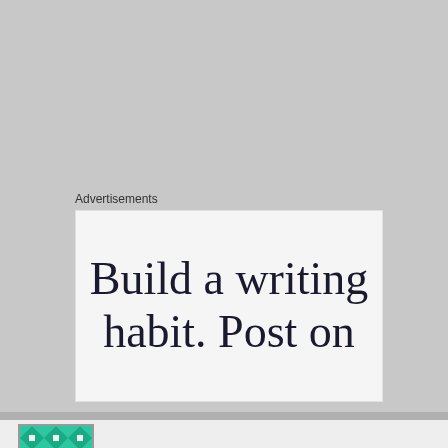Advertisements
[Figure (other): Advertisement banner showing text: Build a writing habit. Post on]
LOUISA PESTELL
February 25, 2016 at 8:34 am
Privacy & Cookies: This site uses cookies. By continuing to use this website, you agree to their use.
To find out more, including how to control cookies, see here: Cookie Policy
Close and accept